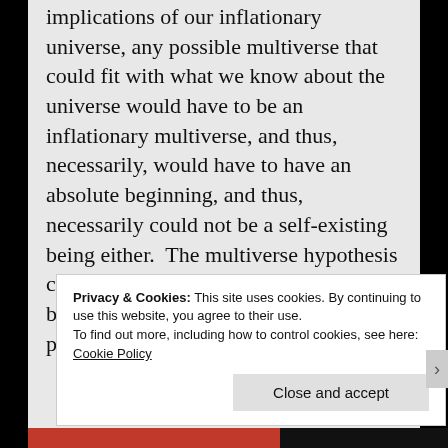implications of our inflationary universe, any possible multiverse that could fit with what we know about the universe would have to be an inflationary multiverse, and thus, necessarily, would have to have an absolute beginning, and thus, necessarily could not be a self-existing being either.  The multiverse hypothesis cannot “solve” the problem an absolute beginning without directly, unless it posits that
Privacy & Cookies: This site uses cookies. By continuing to use this website, you agree to their use.
To find out more, including how to control cookies, see here: Cookie Policy
Close and accept